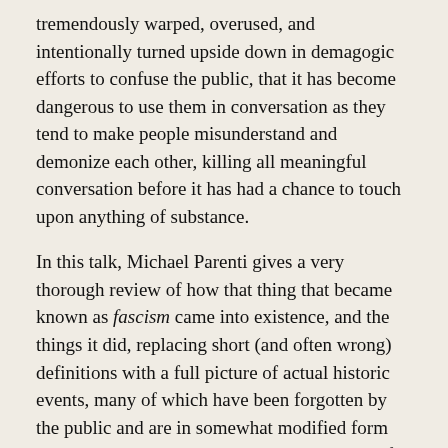tremendously warped, overused, and intentionally turned upside down in demagogic efforts to confuse the public, that it has become dangerous to use them in conversation as they tend to make people misunderstand and demonize each other, killing all meaningful conversation before it has had a chance to touch upon anything of substance.
In this talk, Michael Parenti gives a very thorough review of how that thing that became known as fascism came into existence, and the things it did, replacing short (and often wrong) definitions with a full picture of actual historic events, many of which have been forgotten by the public and are in somewhat modified form being repeated today. The terms socialism, “left,” and “right” are also being made clearer in the process. Aside from helping us with understanding these labels better, this presentation gives us a rich insight into how things came to be the way they are now and where they are headed if we don’t put a stop to the dark forces in power. Among other things, Parenti addresses who